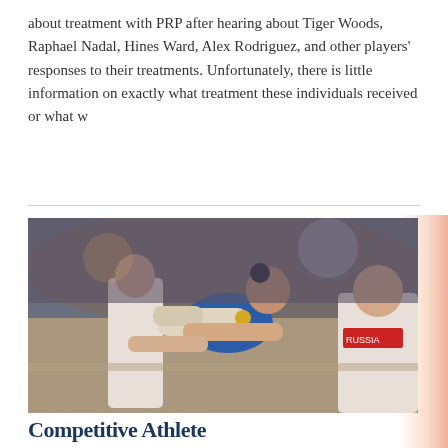about treatment with PRP after hearing about Tiger Woods, Raphael Nadal, Hines Ward, Alex Rodriguez, and other players' responses to their treatments. Unfortunately, there is little information on exactly what treatment these individuals received or what w
[Figure (photo): A female gymnast in a blue leotard being carried off the floor by two men (medical/coaching staff), with a taped/bandaged leg, at what appears to be a gymnastics competition with a crowd in the background.]
Competitive Athlete